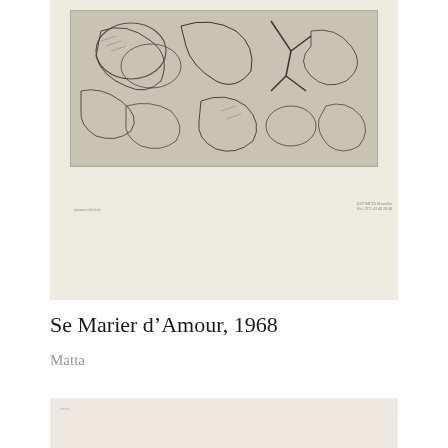[Figure (photo): Photograph of a print artwork 'Se Marier d'Amour' by Matta, 1968. Shows an etching/print on cream paper with abstract figures and organic forms in dark ink. Small text visible in bottom corners of the print.]
Se Marier d'Amour, 1968
Matta
[Figure (photo): Partial photograph of a second artwork, showing a dark rectangular etching/print on cream paper, partially visible at the bottom of the page.]